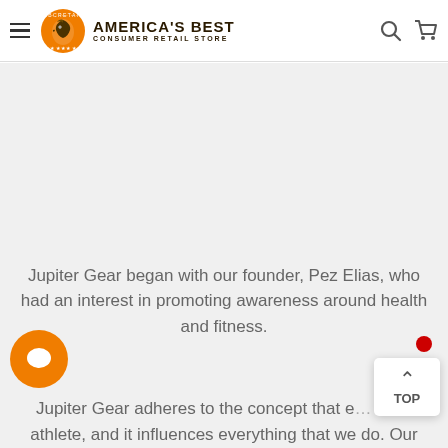America's Best Consumer Retail Store
[Figure (logo): ABC Retail eagle logo circle in orange with stars]
Jupiter Gear began with our founder, Pez Elias, who had an interest in promoting awareness around health and fitness.
Jupiter Gear adheres to the concept that e... is an athlete, and it influences everything that we do. Our